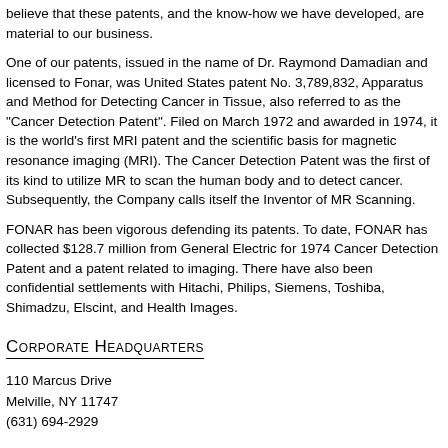believe that these patents, and the know-how we have developed, are material to our business.
One of our patents, issued in the name of Dr. Raymond Damadian and licensed to Fonar, was United States patent No. 3,789,832, Apparatus and Method for Detecting Cancer in Tissue, also referred to as the "Cancer Detection Patent". Filed on March 1972 and awarded in 1974, it is the world's first MRI patent and the scientific basis for magnetic resonance imaging (MRI). The Cancer Detection Patent was the first of its kind to utilize MR to scan the human body and to detect cancer. Subsequently, the Company calls itself the Inventor of MR Scanning.
FONAR has been vigorous defending its patents. To date, FONAR has collected $128.7 million from General Electric for 1974 Cancer Detection Patent and a patent related to imaging. There have also been confidential settlements with Hitachi, Philips, Siemens, Toshiba, Shimadzu, Elscint, and Health Images.
Corporate Headquarters
110 Marcus Drive
Melville, NY 11747
(631) 694-2929